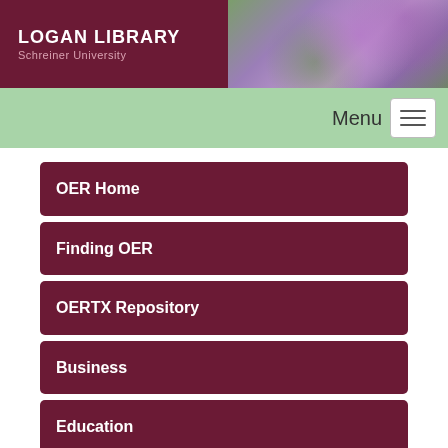LOGAN LIBRARY Schreiner University
OER Home
Finding OER
OERTX Repository
Business
Education
Human Performance & Behavior
Humanities
Nursing